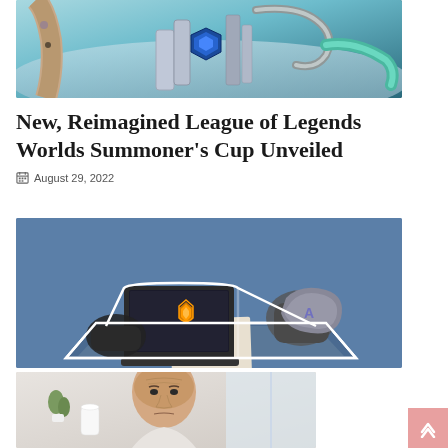[Figure (photo): Close-up photo of what appears to be the League of Legends Worlds Summoner's Cup trophy with blue gem details, metallic surfaces, and a blue cloth in the background]
New, Reimagined League of Legends Worlds Summoner's Cup Unveiled
August 29, 2022
[Figure (illustration): Cartoon/illustrated image showing hands on a desk with a laptop featuring an orange gem/shield logo, on a blue background]
[Figure (photo): Photo of an older bald man in a light-colored room with plants visible in the background]